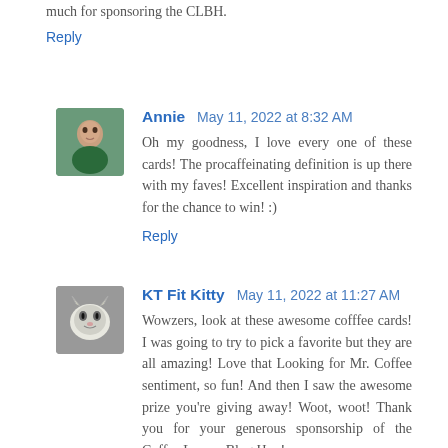much for sponsoring the CLBH.
Reply
Annie  May 11, 2022 at 8:32 AM
Oh my goodness, I love every one of these cards! The procaffeinating definition is up there with my faves! Excellent inspiration and thanks for the chance to win! :)
Reply
KT Fit Kitty  May 11, 2022 at 11:27 AM
Wowzers, look at these awesome cofffee cards! I was going to try to pick a favorite but they are all amazing! Love that Looking for Mr. Coffee sentiment, so fun! And then I saw the awesome prize you're giving away! Woot, woot! Thank you for your generous sponsorship of the Coffee Lovers Blog Hop!